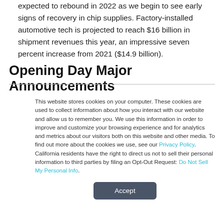expected to rebound in 2022 as we begin to see early signs of recovery in chip supplies. Factory-installed automotive tech is projected to reach $16 billion in shipment revenues this year, an impressive seven percent increase from 2021 ($14.9 billion).
Opening Day Major Announcements
This website stores cookies on your computer. These cookies are used to collect information about how you interact with our website and allow us to remember you. We use this information in order to improve and customize your browsing experience and for analytics and metrics about our visitors both on this website and other media. To find out more about the cookies we use, see our Privacy Policy. California residents have the right to direct us not to sell their personal information to third parties by filing an Opt-Out Request: Do Not Sell My Personal Info.